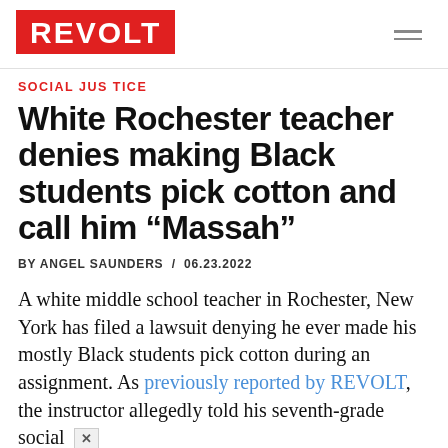REVOLT
SOCIAL JUSTICE
White Rochester teacher denies making Black students pick cotton and call him “Massah”
BY ANGEL SAUNDERS / 06.23.2022
A white middle school teacher in Rochester, New York has filed a lawsuit denying he ever made his mostly Black students pick cotton during an assignment. As previously reported by REVOLT, the instructor allegedly told his seventh-grade social studies class to complete the dehumanizing act on April 26.
Advertisement